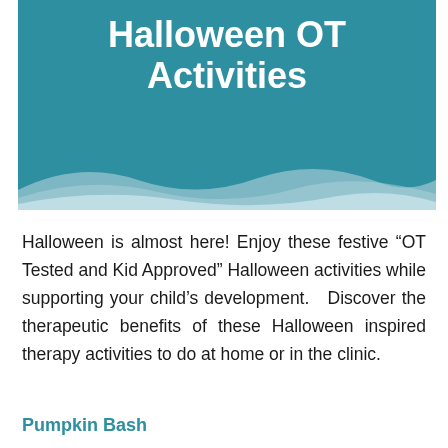Halloween OT Activities
[Figure (illustration): Teal/blue banner header with wave design at the bottom, containing the title text 'Halloween OT Activities' in white bold font]
Halloween is almost here!  Enjoy these festive “OT Tested and Kid Approved” Halloween activities while supporting your child’s development.   Discover the therapeutic benefits of these Halloween inspired therapy activities to do at home or in the clinic.
Pumpkin Bash